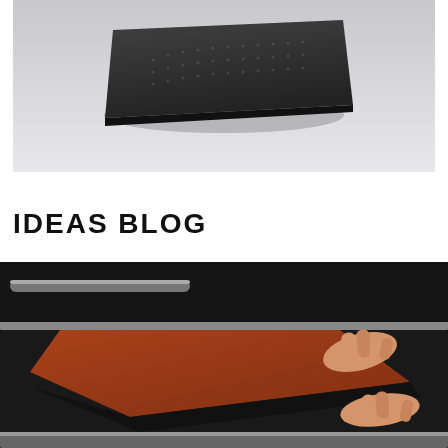[Figure (photo): Black rectangular object (possibly a rubber mat or device) on a light gray background, photographed from above at an angle]
IDEAS BLOG
[Figure (photo): Hands peeling back a brown/rust colored rubber sheet from a large black rubber mat on what appears to be a manufacturing or cutting table]